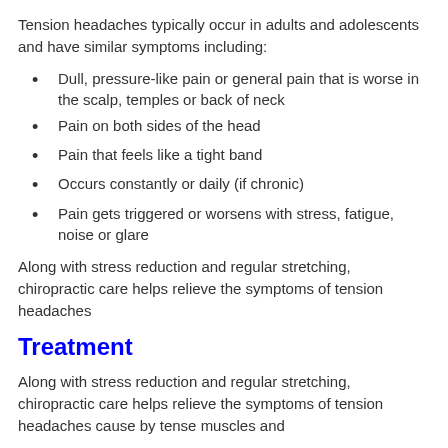Tension headaches typically occur in adults and adolescents and have similar symptoms including:
Dull, pressure-like pain or general pain that is worse in the scalp, temples or back of neck
Pain on both sides of the head
Pain that feels like a tight band
Occurs constantly or daily (if chronic)
Pain gets triggered or worsens with stress, fatigue, noise or glare
Along with stress reduction and regular stretching, chiropractic care helps relieve the symptoms of tension headaches
Treatment
Along with stress reduction and regular stretching, chiropractic care helps relieve the symptoms of tension headaches cause by tense muscles and